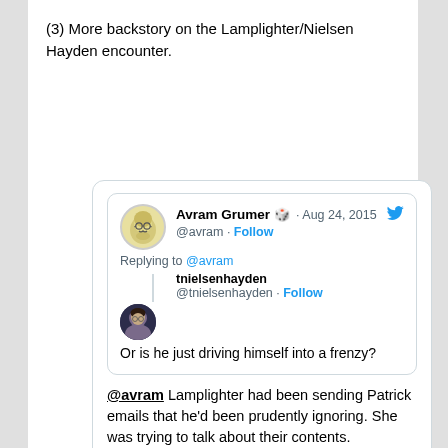(3) More backstory on the Lamplighter/Nielsen Hayden encounter.
[Figure (screenshot): Embedded tweet screenshot. Quoted tweet by Avram Grumer (@avram, Aug 24 2015): 'Or is he just driving himself into a frenzy?' Reply tweet by tnielsenhayden (@tnielsenhayden): '@avram Lamplighter had been sending Patrick emails that he'd been prudently ignoring. She was trying to talk about their contents.' Timestamp: 4:13 PM · Aug 24, 2015. 2 likes. Actions: Reply, Copy link. Footer: Explore what's happening on Twitter.]